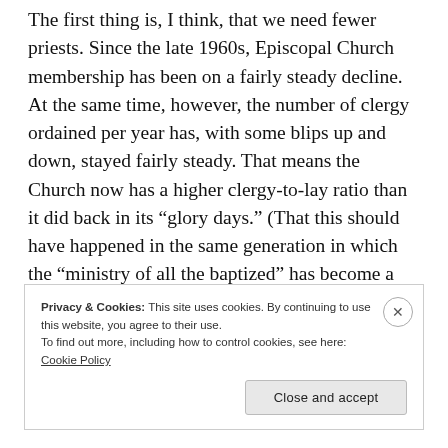The first thing is, I think, that we need fewer priests. Since the late 1960s, Episcopal Church membership has been on a fairly steady decline. At the same time, however, the number of clergy ordained per year has, with some blips up and down, stayed fairly steady. That means the Church now has a higher clergy-to-lay ratio than it did back in its “glory days.” (That this should have happened in the same generation in which the “ministry of all the baptized” has become a central part of the church’s teaching is particularly ironic.)
Privacy & Cookies: This site uses cookies. By continuing to use this website, you agree to their use.
To find out more, including how to control cookies, see here: Cookie Policy
Close and accept